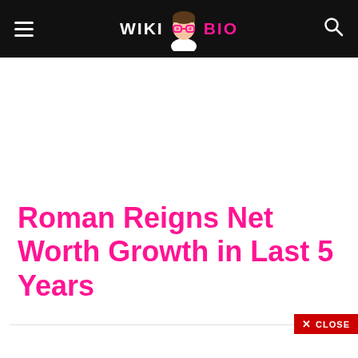WIKI BIO
Roman Reigns Net Worth Growth in Last 5 Years